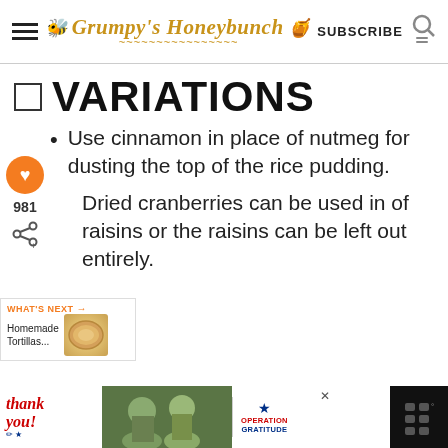Grumpy's Honeybunch — SUBSCRIBE
☐ VARIATIONS
Use cinnamon in place of nutmeg for dusting the top of the rice pudding.
Dried cranberries can be used in of raisins or the raisins can be left out entirely.
[Figure (screenshot): What's Next widget showing Homemade Tortillas with a round tortilla thumbnail image]
[Figure (infographic): Operation Gratitude advertisement banner at the bottom with thank you message and military imagery]